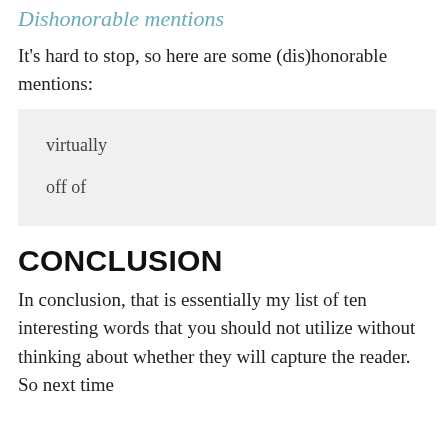Dishonorable mentions
It's hard to stop, so here are some (dis)honorable mentions:
virtually
off of
CONCLUSION
In conclusion, that is essentially my list of ten interesting words that you should not utilize without thinking about whether they will capture the reader. So next time